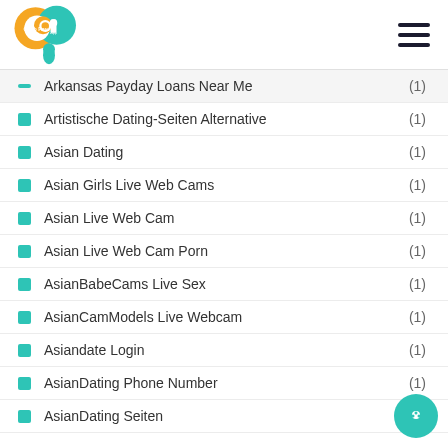Carib Pay App logo and navigation menu
Arkansas Payday Loans Near Me (1)
Artistische Dating-Seiten Alternative (1)
Asian Dating (1)
Asian Girls Live Web Cams (1)
Asian Live Web Cam (1)
Asian Live Web Cam Porn (1)
AsianBabeCams Live Sex (1)
AsianCamModels Live Webcam (1)
Asiandate Login (1)
AsianDating Phone Number (1)
AsianDating Seiten (1)